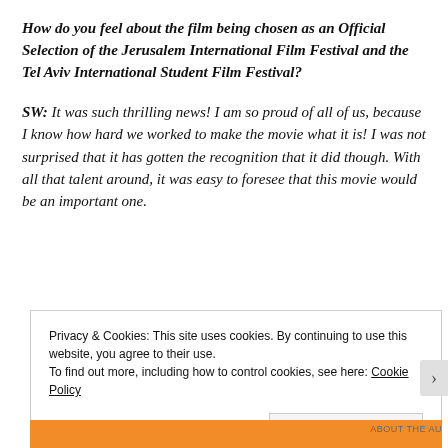How do you feel about the film being chosen as an Official Selection of the Jerusalem International Film Festival and the Tel Aviv International Student Film Festival?
SW: It was such thrilling news! I am so proud of all of us, because I know how hard we worked to make the movie what it is! I was not surprised that it has gotten the recognition that it did though. With all that talent around, it was easy to foresee that this movie would be an important one.
Privacy & Cookies: This site uses cookies. By continuing to use this website, you agree to their use.
To find out more, including how to control cookies, see here: Cookie Policy
Close and accept